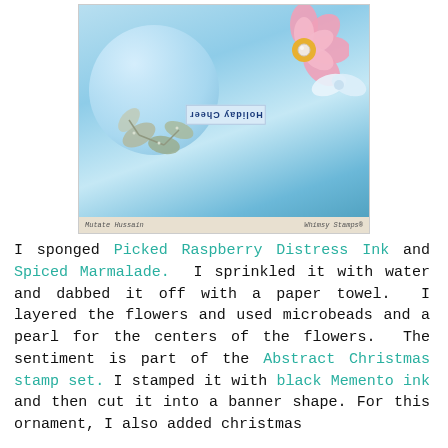[Figure (photo): Close-up photo of a decorative holiday ornament ball in light blue with a pink paper flower, glittery silver leaves, a white satin ribbon bow, and a blue ribbon banner stamped with 'Holiday Cheer' in vertical orientation. Photo credits: Mutate Hussain and Whimsy Stamps.]
I sponged Picked Raspberry Distress Ink and Spiced Marmalade.  I sprinkled it with water and dabbed it off with a paper towel.  I layered the flowers and used microbeads and a pearl for the centers of the flowers.  The sentiment is part of the Abstract Christmas stamp set.  I stamped it with black Memento ink and then cut it into a banner shape. For this ornament, I also added christmas...